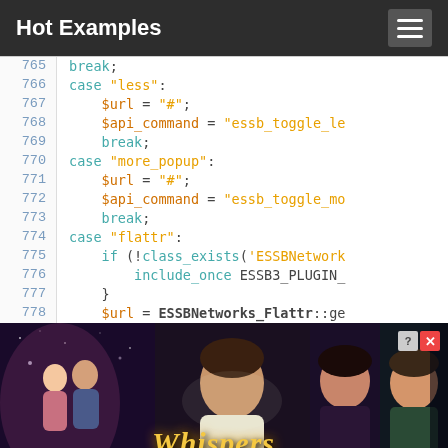Hot Examples
[Figure (screenshot): Code viewer showing PHP switch-case lines 765-778 with syntax highlighting]
[Figure (photo): Whispers game advertisement banner with romantic imagery]